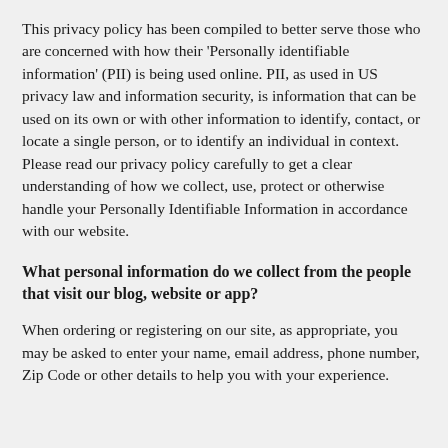This privacy policy has been compiled to better serve those who are concerned with how their 'Personally identifiable information' (PII) is being used online. PII, as used in US privacy law and information security, is information that can be used on its own or with other information to identify, contact, or locate a single person, or to identify an individual in context. Please read our privacy policy carefully to get a clear understanding of how we collect, use, protect or otherwise handle your Personally Identifiable Information in accordance with our website.
What personal information do we collect from the people that visit our blog, website or app?
When ordering or registering on our site, as appropriate, you may be asked to enter your name, email address, phone number, Zip Code or other details to help you with your experience.